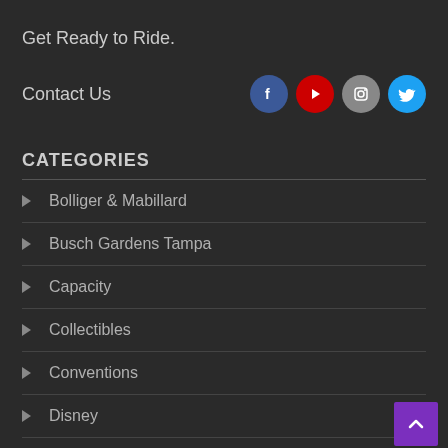Get Ready to Ride.
Contact Us
[Figure (illustration): Social media icons: Facebook (blue circle), YouTube (red circle), Instagram (gray circle), Twitter (cyan circle)]
CATEGORIES
Bolliger & Mabillard
Busch Gardens Tampa
Capacity
Collectibles
Conventions
Disney
Dollywood